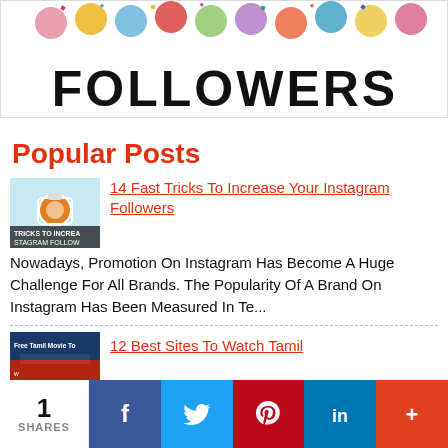[Figure (illustration): Banner image with colorful confetti/circles at top and large bold text 'FOLLOWERS' in black on white background]
Popular Posts
[Figure (photo): Thumbnail for '14 Fast Tricks To Increase Your Instagram Followers' post - shows camera icon and text overlay]
14 Fast Tricks To Increase Your Instagram Followers
Nowadays, Promotion On Instagram Has Become A Huge Challenge For All Brands. The Popularity Of A Brand On Instagram Has Been Measured In Te...
[Figure (photo): Thumbnail for '12 Best Sites To Watch Tamil' post - dark blue background]
12 Best Sites To Watch Tamil
1 SHARES
[Figure (infographic): Social share bar with Facebook, Twitter, Pinterest, LinkedIn, and More buttons]